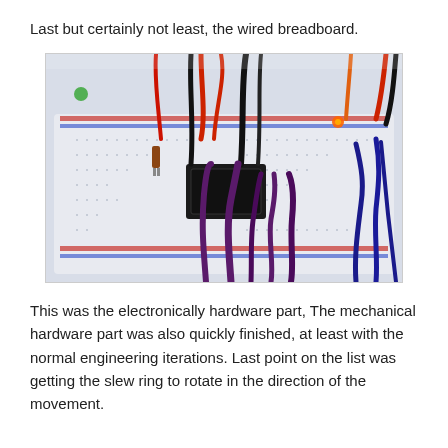Last but certainly not least, the wired breadboard.
[Figure (photo): Photo of a wired breadboard with multiple colored wires (red, black, purple, blue, orange) plugged into it, along with electronic components including what appears to be an LED and capacitor. The breadboard is white with red and blue rail lines visible.]
This was the electronically hardware part, The mechanical hardware part was also quickly finished, at least with the normal engineering iterations. Last point on the list was getting the slew ring to rotate in the direction of the movement.